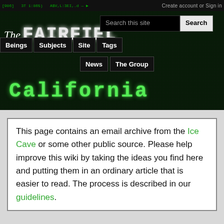Create account or Sign in
[Figure (screenshot): The Fairfield Project website header with dark green matrix-style background, navigation buttons (Beings, Subjects, Site, Tags, News, The Group), search bar, and 'California' title in green monospace font]
California
This page contains an email archive from the Ice Cave or some other public source. Please help improve this wiki by taking the ideas you find here and putting them in an ordinary article that is easier to read. The process is described in our guidelines.